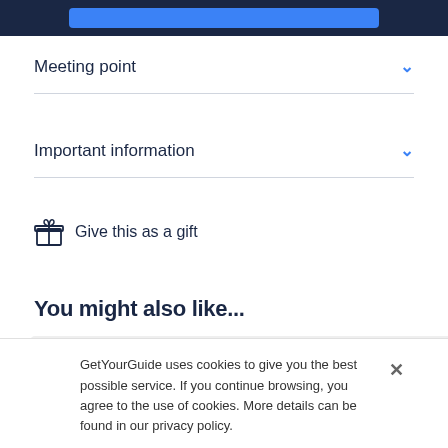[Figure (screenshot): Dark navy top bar with a blue rounded button inside]
Meeting point
Important information
Give this as a gift
You might also like...
[Figure (screenshot): Gray card placeholder with a heart icon on the right]
GetYourGuide uses cookies to give you the best possible service. If you continue browsing, you agree to the use of cookies. More details can be found in our privacy policy.